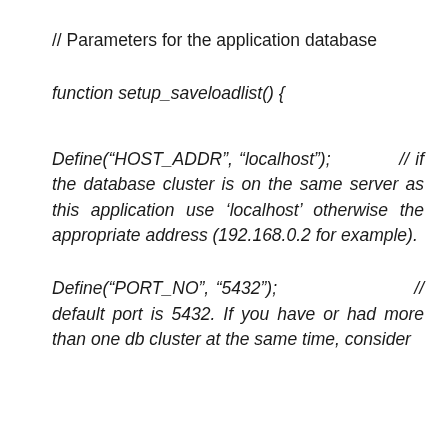// Parameters for the application database
function setup_saveloadlist() {
Define(“HOST_ADDR”, “localhost”);          // if the database cluster is on the same server as this application use ‘localhost’ otherwise the appropriate address (192.168.0.2 for example).
Define(“PORT_NO”, “5432”);                     // default port is 5432. If you have or had more than one db cluster at the same time, consider